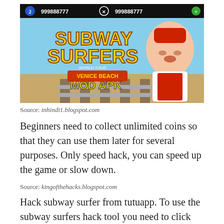[Figure (screenshot): Screenshot of Subway Surfers Venice Beach Mod APK game showing the game title with characters and the number 999888777 displayed twice with coin/key icons]
Source: tnhindi1.blogspot.com
Beginners need to collect unlimited coins so that they can use them later for several purposes. Only speed hack, you can speed up the game or slow down.
Source: kingofthehacks.blogspot.com
Hack subway surfer from tutuapp. To use the subway surfers hack tool you need to click the “online subway surfer hack” link and the subway surfⓧhack tool will be